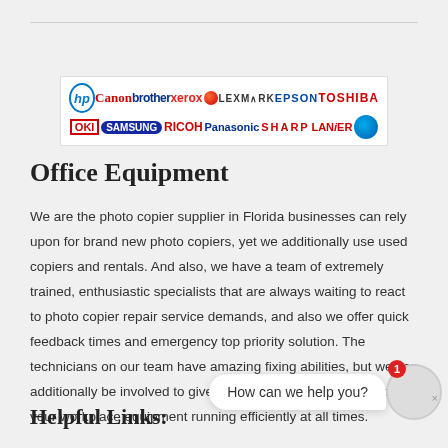[Figure (logo): Banner showing brand logos: HP, Canon, brother, xerox, LEXMARK, EPSON, TOSHIBA, OKI, SAMSUNG, RICOH, Panasonic, SHARP, LANIER, Konica Minolta]
Office Equipment
We are the photo copier supplier in Florida businesses can rely upon for brand new photo copiers, yet we additionally use used copiers and rentals. And also, we have a team of extremely trained, enthusiastic specialists that are always waiting to react to photo copier repair service demands, and also we offer quick feedback times and emergency top priority solution. The technicians on our team have amazing fixing abilities, but we can additionally be involved to give continuous upkeep to maintain your workplace equipment running efficiently at all times.
Helpful Links:
[Figure (other): Chat widget overlay with speech bubble saying 'How can we help you?' with a red badge showing '1' and a circular avatar]